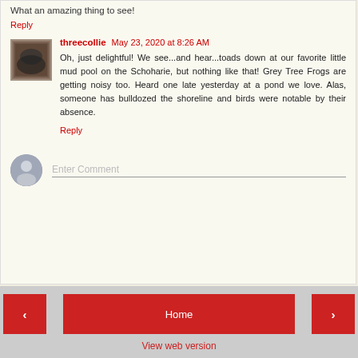What an amazing thing to see!
Reply
threecollie May 23, 2020 at 8:26 AM
Oh, just delightful! We see...and hear...toads down at our favorite little mud pool on the Schoharie, but nothing like that! Grey Tree Frogs are getting noisy too. Heard one late yesterday at a pond we love. Alas, someone has bulldozed the shoreline and birds were notable by their absence.
Reply
Enter Comment
Home  View web version